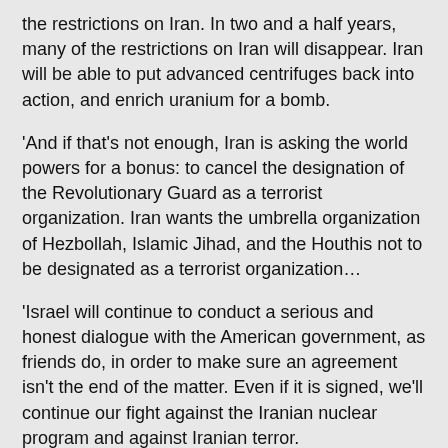the restrictions on Iran. In two and a half years, many of the restrictions on Iran will disappear. Iran will be able to put advanced centrifuges back into action, and enrich uranium for a bomb.
'And if that's not enough, Iran is asking the world powers for a bonus: to cancel the designation of the Revolutionary Guard as a terrorist organization. Iran wants the umbrella organization of Hezbollah, Islamic Jihad, and the Houthis not to be designated as a terrorist organization…
'Israel will continue to conduct a serious and honest dialogue with the American government, as friends do, in order to make sure an agreement isn't the end of the matter. Even if it is signed, we'll continue our fight against the Iranian nuclear program and against Iranian terror.
'Let me be clear: we aren't subject to this agreement. Israel will defend itself, by itself. We have a strong Army, we have the Mossad, we have a determined government, and we won't hesitate to act in order to prevent Iran from achieving its goal,' Lapid concluded…"